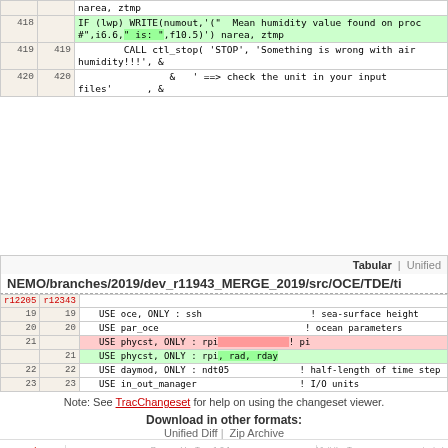|  |  | code |
| --- | --- | --- |
|  |  | narea, ztmp |
| 418 |  | IF (lwp) WRITE(numout,'("  Mean humidity value found on proc #",i6.6," is: ",f10.5)') narea, ztmp |
| 419 | 419 | CALL ctl_stop( 'STOP', 'Something is wrong with air humidity!!!', & |
| 420 | 420 | &   ' ==> check the unit in your input files'     , & |
Tabular | Unified
NEMO/branches/2019/dev_r11943_MERGE_2019/src/OCE/TDE/ti
| r12205 | r12343 | code |
| --- | --- | --- |
| 19 | 19 | USE oce, ONLY : ssh                    ! sea-surface height |
| 20 | 20 | USE par_oce                            ! ocean parameters |
| 21 |  | USE phycst, ONLY : rpi                 ! pi |
|  | 21 | USE phycst, ONLY : rpi, rad, rday |
| 22 | 22 | USE daymod, ONLY : ndt05              ! half-length of time step |
| 23 | 23 | USE in_out_manager                    ! I/O units |
Note: See TracChangeset for help on using the changeset viewer.
Download in other formats:
Unified Diff | Zip Archive
Powered by Trac 1.0.1
By Edgewall Software.
Visit the Trac open source project at
http://trac.edgewall.org/